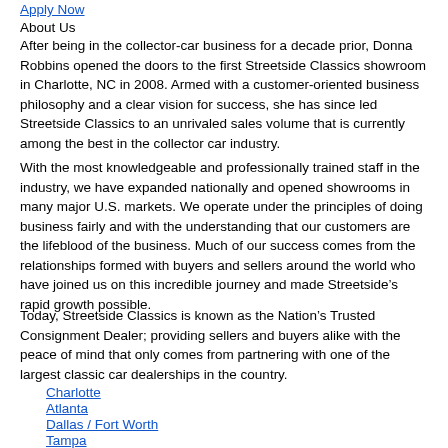Apply Now
About Us
After being in the collector-car business for a decade prior, Donna Robbins opened the doors to the first Streetside Classics showroom in Charlotte, NC in 2008. Armed with a customer-oriented business philosophy and a clear vision for success, she has since led Streetside Classics to an unrivaled sales volume that is currently among the best in the collector car industry.
With the most knowledgeable and professionally trained staff in the industry, we have expanded nationally and opened showrooms in many major U.S. markets. We operate under the principles of doing business fairly and with the understanding that our customers are the lifeblood of the business. Much of our success comes from the relationships formed with buyers and sellers around the world who have joined us on this incredible journey and made Streetside’s rapid growth possible.
Today, Streetside Classics is known as the Nation’s Trusted Consignment Dealer; providing sellers and buyers alike with the peace of mind that only comes from partnering with one of the largest classic car dealerships in the country.
Charlotte
Atlanta
Dallas / Fort Worth
Tampa
Nashville
Phoenix